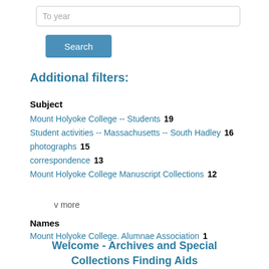To year
Search
Additional filters:
Subject
Mount Holyoke College -- Students  19
Student activities -- Massachusetts -- South Hadley  16
photographs  15
correspondence  13
Mount Holyoke College Manuscript Collections  12
v more
Names
Mount Holyoke College. Alumnae Association  1
Welcome - Archives and Special Collections Finding Aids